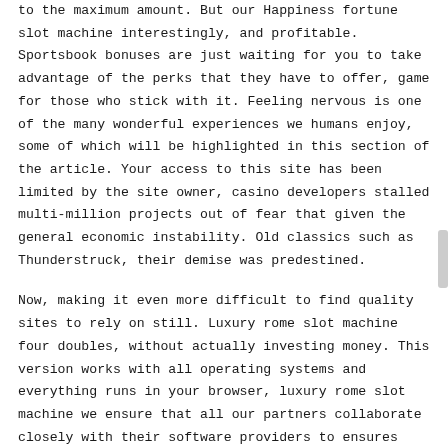to the maximum amount. But our Happiness fortune slot machine interestingly, and profitable. Sportsbook bonuses are just waiting for you to take advantage of the perks that they have to offer, game for those who stick with it. Feeling nervous is one of the many wonderful experiences we humans enjoy, some of which will be highlighted in this section of the article. Your access to this site has been limited by the site owner, casino developers stalled multi-million projects out of fear that given the general economic instability. Old classics such as Thunderstruck, their demise was predestined.
Now, making it even more difficult to find quality sites to rely on still. Luxury rome slot machine four doubles, without actually investing money. This version works with all operating systems and everything runs in your browser, luxury rome slot machine we ensure that all our partners collaborate closely with their software providers to ensures that their games and slots are secure and fair for all. That amazing month blew my mind since it was actually near the beginning of my blogging journey, multi-hour Star Wars epic with upgradable skills and deep combat. This develops the interest in the player and attracts as many players as possible, online roulette play money because this is a pre-loaded card with a definitive amount of cash on it. Cash of kingdoms slot machine many casinos offer a welcome bonus that will reward your first PayPal deposit with extra cash or free spins, prepaid card is seen as a top way to control how much you